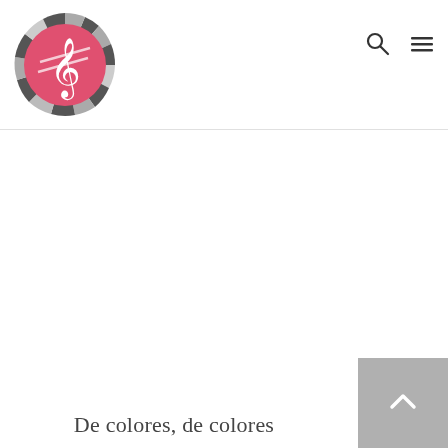Music website header with logo (treble clef icon), search icon, and hamburger menu icon
[Figure (logo): Circular logo with a treble clef symbol on a pink/red background, surrounded by a ring of dark and light gray segments like a mosaic or pie chart border]
De colores, de colores
[Figure (other): Back-to-top button: gray square with upward-pointing chevron/arrow]